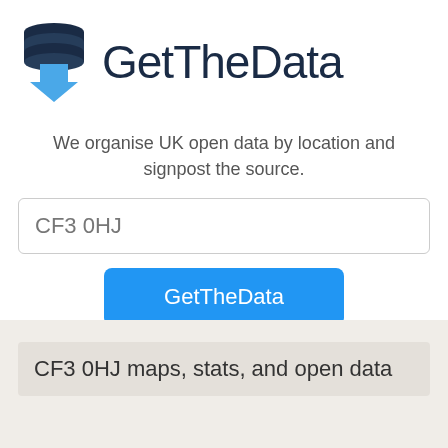[Figure (logo): GetTheData logo: dark blue stacked cylinder database icon with a blue downward arrow, next to bold dark blue text 'GetTheData']
We organise UK open data by location and signpost the source.
CF3 0HJ
GetTheData
CF3 0HJ maps, stats, and open data